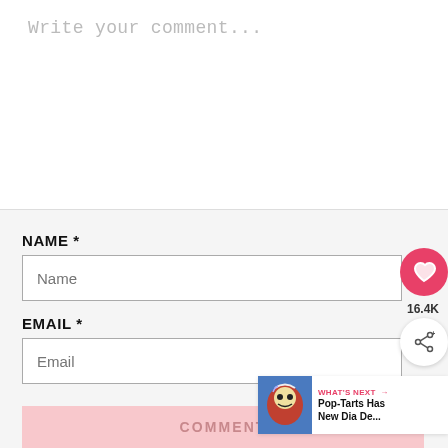Write your comment...
NAME *
Name
EMAIL *
Email
COMMENT
16.4K
WHAT'S NEXT → Pop-Tarts Has New Dia De...